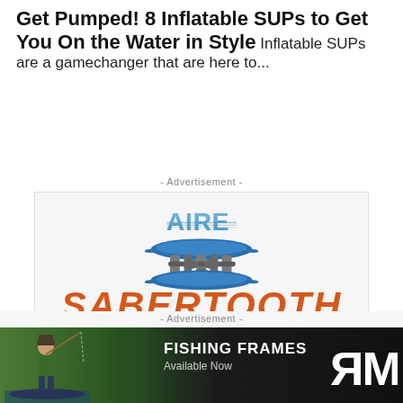Get Pumped! 8 Inflatable SUPs to Get You On the Water in Style  Inflatable SUPs are a gamechanger that are here to...
- Advertisement -
[Figure (logo): AIRE brand logo with water/mountain imagery in letters, above an inflatable catamaran/SUP watercraft in blue, with SABERTOOTH text below in orange italic]
- Advertisement -
[Figure (photo): Bottom banner ad showing a person fishing from a SUP on a river surrounded by green trees, with text FISHING FRAMES Available Now and RMR logo on dark background]